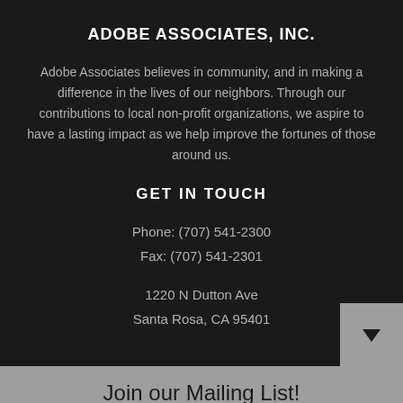ADOBE ASSOCIATES, INC.
Adobe Associates believes in community, and in making a difference in the lives of our neighbors. Through our contributions to local non-profit organizations, we aspire to have a lasting impact as we help improve the fortunes of those around us.
GET IN TOUCH
Phone: (707) 541-2300
Fax: (707) 541-2301
1220 N Dutton Ave
Santa Rosa, CA 95401
Join our Mailing List!
Your email address...
Subscribe